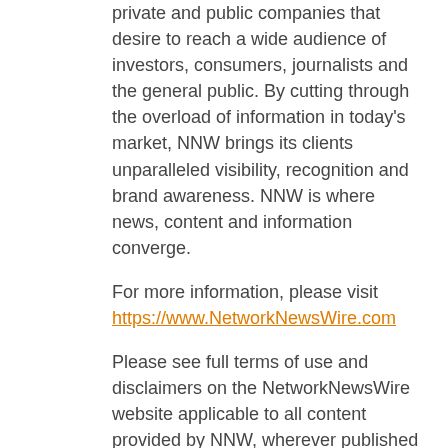private and public companies that desire to reach a wide audience of investors, consumers, journalists and the general public. By cutting through the overload of information in today's market, NNW brings its clients unparalleled visibility, recognition and brand awareness. NNW is where news, content and information converge.
For more information, please visit https://www.NetworkNewsWire.com
Please see full terms of use and disclaimers on the NetworkNewsWire website applicable to all content provided by NNW, wherever published or re-published: http://NNW.fm/Disclaimer
NetworkNewsWire (NNW)
New York, New York
www.NetworkNewsWire.com
919.419.1917 Office